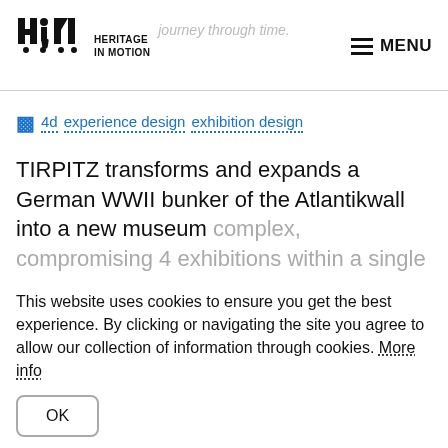journey through time.
[Figure (logo): Heritage in Motion logo with stylized HM letters and text 'HERITAGE IN MOTION']
MENU
4d   experience design   exhibition design
TIRPITZ transforms and expands a German WWII bunker of the Atlantikwall into a new museum complex, compromising 4 exhibitions within a single
This website uses cookies to ensure you get the best experience. By clicking or navigating the site you agree to allow our collection of information through cookies. More info
OK